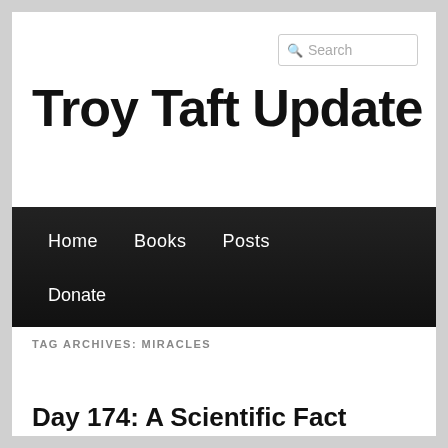Troy Taft Update
Search
Home  Books  Posts  Donate
TAG ARCHIVES: MIRACLES
Day 174: A Scientific Fact